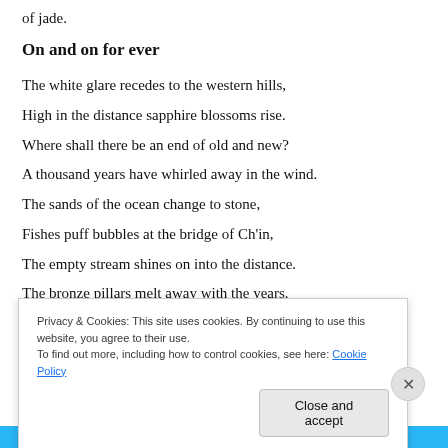of jade.
On and on for ever
The white glare recedes to the western hills,
High in the distance sapphire blossoms rise.
Where shall there be an end of old and new?
A thousand years have whirled away in the wind.
The sands of the ocean change to stone,
Fishes puff bubbles at the bridge of Ch'in,
The empty stream shines on into the distance.
The bronze pillars melt away with the years.
Privacy & Cookies: This site uses cookies. By continuing to use this website, you agree to their use.
To find out more, including how to control cookies, see here: Cookie Policy
Close and accept